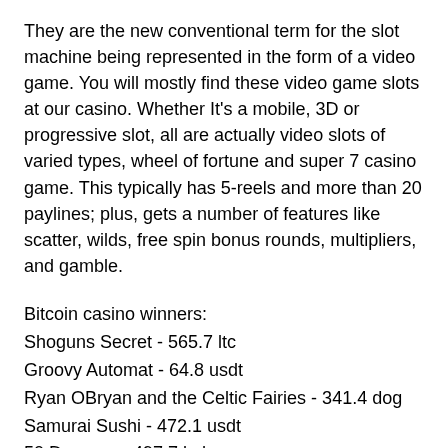They are the new conventional term for the slot machine being represented in the form of a video game. You will mostly find these video game slots at our casino. Whether It's a mobile, 3D or progressive slot, all are actually video slots of varied types, wheel of fortune and super 7 casino game. This typically has 5-reels and more than 20 paylines; plus, gets a number of features like scatter, wilds, free spin bonus rounds, multipliers, and gamble.
Bitcoin casino winners:
Shoguns Secret - 565.7 ltc
Groovy Automat - 64.8 usdt
Ryan OBryan and the Celtic Fairies - 341.4 dog
Samurai Sushi - 472.1 usdt
50 Dragons - 497.7 bch
Glutters - 435.8 dog
Amazon Wild - 639.1 bch